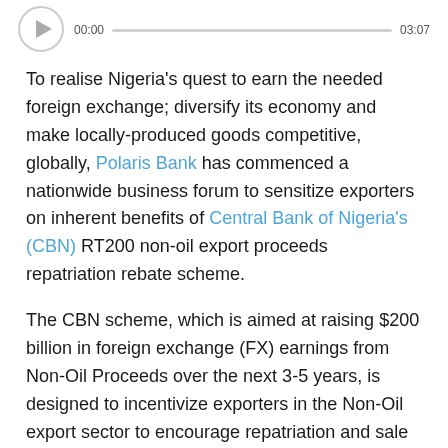[Figure (other): Audio player widget showing play button circle, progress bar, time 00:00 and 03:07]
To realise Nigeria's quest to earn the needed foreign exchange; diversify its economy and make locally-produced goods competitive, globally, Polaris Bank has commenced a nationwide business forum to sensitize exporters on inherent benefits of Central Bank of Nigeria's (CBN) RT200 non-oil export proceeds repatriation rebate scheme.
The CBN scheme, which is aimed at raising $200 billion in foreign exchange (FX) earnings from Non-Oil Proceeds over the next 3-5 years, is designed to incentivize exporters in the Non-Oil export sector to encourage repatriation and sale of export proceeds into the FX market.
Speaking at the sensitization seminar held in Akure Ondo State on Tuesday and Kano on Thursday, the Bank's Group